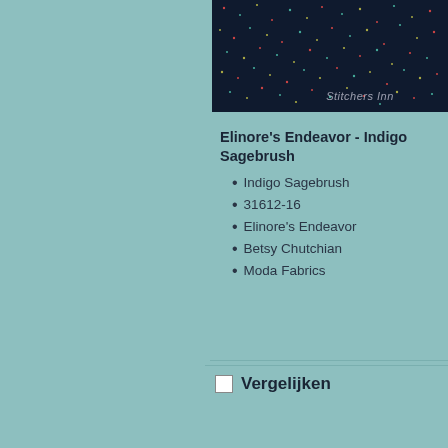[Figure (photo): Dark navy blue fabric with small scattered multicolor dots/speckles pattern, with 'Stitchers Inn' watermark text at bottom right]
Elinore's Endeavor - Indigo Sagebrush
Indigo Sagebrush
31612-16
Elinore's Endeavor
Betsy Chutchian
Moda Fabrics
Vergelijken